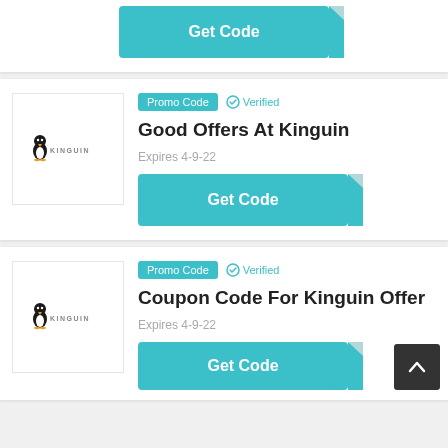[Figure (other): Get Code button (teal) with folded corner, top of page]
[Figure (logo): Kinguin logo - penguin icon with KINGUIN text]
Promo Code   Verified
Good Offers At Kinguin
Expires 4-9-22
[Figure (other): Get Code button (teal) with folded corner]
[Figure (logo): Kinguin logo - penguin icon with KINGUIN text]
Promo Code   Verified
Coupon Code For Kinguin Offer
Expires 4-9-22
[Figure (other): Get Code button (teal) with folded corner, bottom of page]